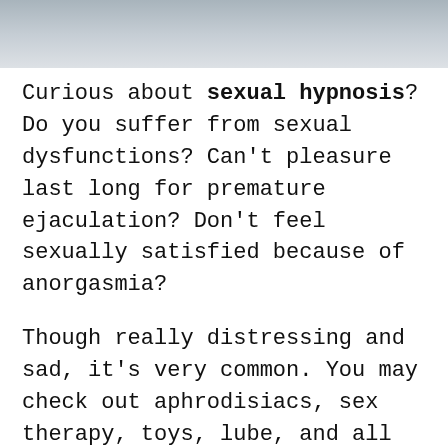[Figure (photo): Partial photo of a person in a white shirt, cropped at top of page]
Curious about sexual hypnosis? Do you suffer from sexual dysfunctions? Can't pleasure last long for premature ejaculation? Don't feel sexually satisfied because of anorgasmia?
Though really distressing and sad, it's very common. You may check out aphrodisiacs, sex therapy, toys, lube, and all kinds of solutions… but sometimes it doesn't work.
When nothing works out, sexual hypnosis